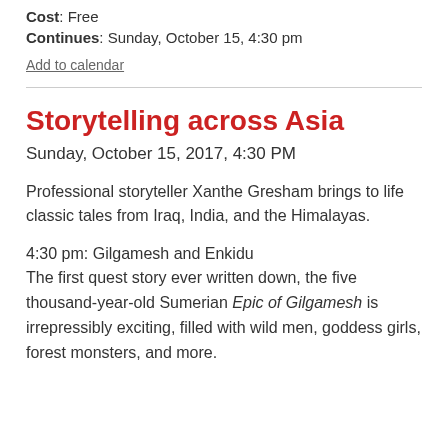Cost: Free
Continues: Sunday, October 15, 4:30 pm
Add to calendar
Storytelling across Asia
Sunday, October 15, 2017, 4:30 PM
Professional storyteller Xanthe Gresham brings to life classic tales from Iraq, India, and the Himalayas.
4:30 pm: Gilgamesh and Enkidu
The first quest story ever written down, the five thousand-year-old Sumerian Epic of Gilgamesh is irrepressibly exciting, filled with wild men, goddess girls, forest monsters, and more.